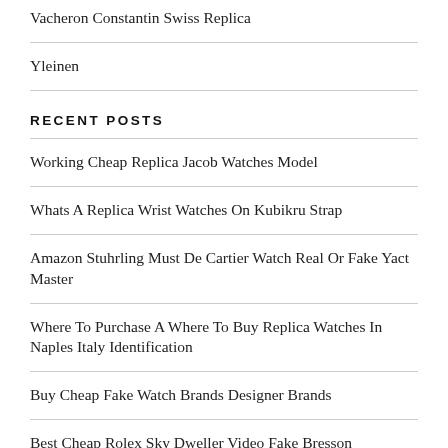Vacheron Constantin Swiss Replica
Yleinen
RECENT POSTS
Working Cheap Replica Jacob Watches Model
Whats A Replica Wrist Watches On Kubikru Strap
Amazon Stuhrling Must De Cartier Watch Real Or Fake Yact Master
Where To Purchase A Where To Buy Replica Watches In Naples Italy Identification
Buy Cheap Fake Watch Brands Designer Brands
Best Cheap Rolex Sky Dweller Video Fake Bresson